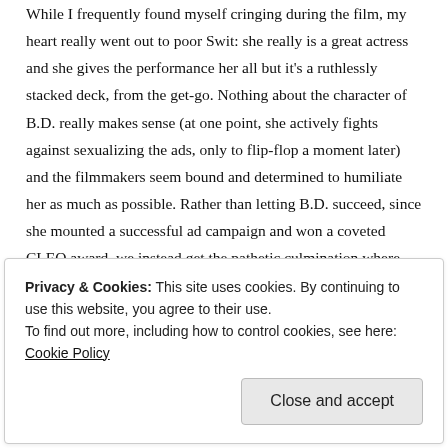While I frequently found myself cringing during the film, my heart really went out to poor Swit: she really is a great actress and she gives the performance her all but it's a ruthlessly stacked deck, from the get-go. Nothing about the character of B.D. really makes sense (at one point, she actively fights against sexualizing the ads, only to flip-flop a moment later) and the filmmakers seem bound and determined to humiliate her as much as possible. Rather than letting B.D. succeed, since she mounted a successful ad campaign and won a coveted CLEO award, we instead get the pathetic culmination where Merle comes to his senses and decides to leave, spurring B.D. to bed him to stay: “Do I have to get down on my
Privacy & Cookies: This site uses cookies. By continuing to use this website, you agree to their use.
To find out more, including how to control cookies, see here: Cookie Policy
Close and accept